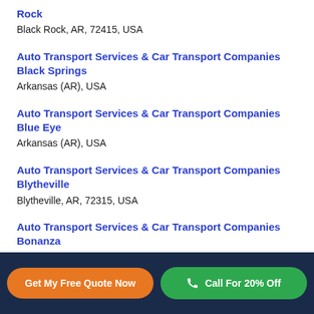Rock
Black Rock, AR, 72415, USA
Auto Transport Services & Car Transport Companies Black Springs
Arkansas (AR), USA
Auto Transport Services & Car Transport Companies Blue Eye
Arkansas (AR), USA
Auto Transport Services & Car Transport Companies Blytheville
Blytheville, AR, 72315, USA
Auto Transport Services & Car Transport Companies Bonanza
Arkansas (AR), USA
Get My Free Quote Now    Call For 20% Off